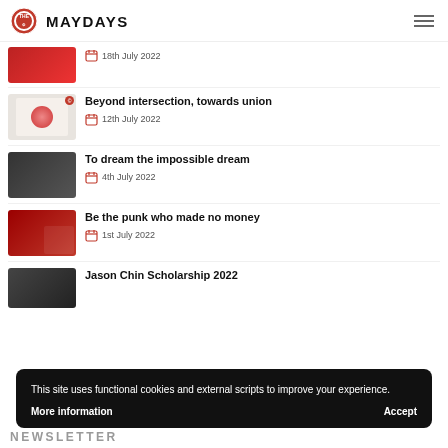THE MAYDAYS
18th July 2022
Beyond intersection, towards union — 12th July 2022
To dream the impossible dream — 4th July 2022
Be the punk who made no money — 1st July 2022
Jason Chin Scholarship 2022
This site uses functional cookies and external scripts to improve your experience.
More information
Accept
NEWSLETTER